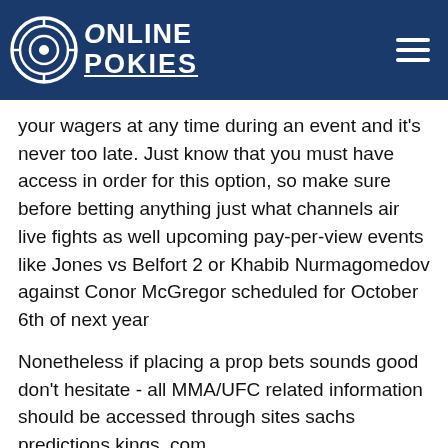Online Pokies
your wagers at any time during an event and it's never too late. Just know that you must have access in order for this option, so make sure before betting anything just what channels air live fights as well upcoming pay-per-view events like Jones vs Belfort 2 or Khabib Nurmagomedov against Conor McGregor scheduled for October 6th of next year
Nonetheless if placing a prop bets sounds good don't hesitate - all MMA/UFC related information should be accessed through sites sachs predictions kings .com
Types of bets you can make on an event